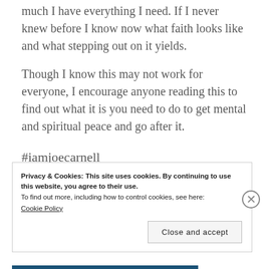much I have everything I need. If I never knew before I know now what faith looks like and what stepping out on it yields.
Though I know this may not work for everyone, I encourage anyone reading this to find out what it is you need to do to get mental and spiritual peace and go after it.
#iamjoecarnell
Privacy & Cookies: This site uses cookies. By continuing to use this website, you agree to their use.
To find out more, including how to control cookies, see here:
Cookie Policy
Close and accept